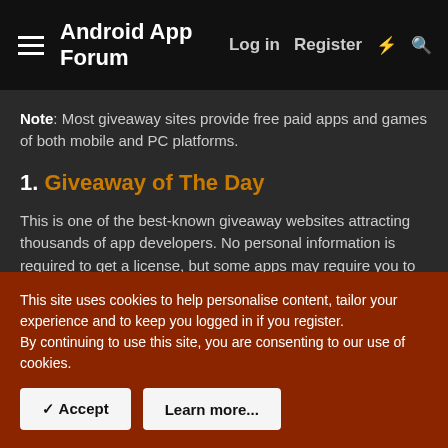Android App Forum   Log in   Register
Note: Most giveaway sites provide free paid apps and games of both mobile and PC platforms.
1. Giveaway of The Day
This is one of the best-known giveaway websites attracting thousands of app developers. No personal information is required to get a license, but some apps may require you to share the activity to Facebook or receive push notifications from the site. You can choose to enter your email address to
This site uses cookies to help personalise content, tailor your experience and to keep you logged in if you register.
By continuing to use this site, you are consenting to our use of cookies.
✓ Accept   Learn more...